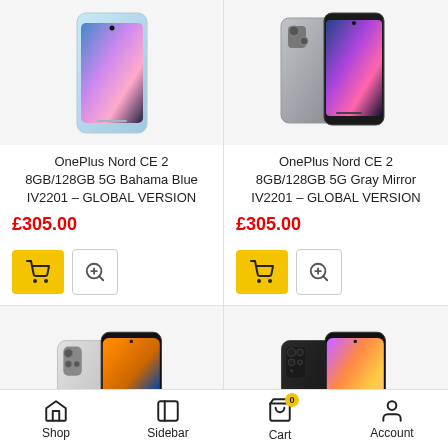[Figure (photo): OnePlus Nord CE 2 smartphone in Bahama Blue color]
OnePlus Nord CE 2 8GB/128GB 5G Bahama Blue IV2201 – GLOBAL VERSION
£305.00
[Figure (photo): OnePlus Nord CE 2 smartphone in Gray Mirror color]
OnePlus Nord CE 2 8GB/128GB 5G Gray Mirror IV2201 – GLOBAL VERSION
£305.00
[Figure (photo): Silver/white smartphone (likely Poco X4 Pro or similar)]
[Figure (photo): Black smartphone rear and front view]
Shop  Sidebar  Cart  Account